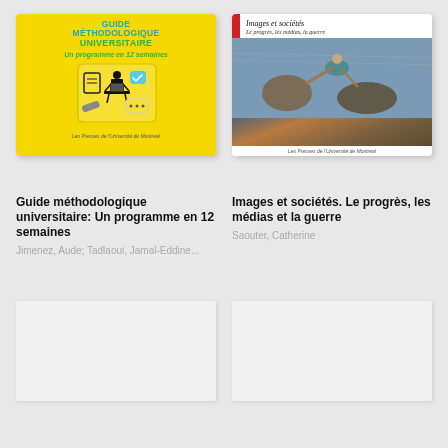[Figure (illustration): Book cover for Guide méthodologique universitaire: yellow background with student sitting at desk with laptop, document icons, and chat bubble with ellipsis. Title in cyan and green text. Publisher: Les Presses de l'Université de Montréal.]
[Figure (illustration): Book cover for Images et sociétés with white header area showing italic title and subtitle 'Le progrès, les médias, la guerre', red strip on left, and a photo of a child being lifted over barbed wire. Publisher: Les Presses de l'Université de Montréal.]
Guide méthodologique universitaire: Un programme en 12 semaines
Jimenez, Aude; Tadlaoui, Jamal-Eddine...
Images et sociétés. Le progrès, les médias et la guerre
Saouter, Catherine
[Figure (illustration): Placeholder book cover, white/light gray, mostly blank.]
[Figure (illustration): Placeholder book cover, white/light gray, mostly blank.]